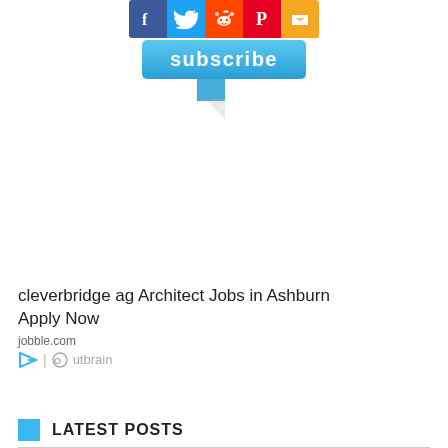[Figure (screenshot): Social media sharing icons (Facebook, Twitter, Reddit, Pinterest, email/share) in colored square buttons, and a blue 'subscribe' speech bubble button below them]
cleverbridge ag Architect Jobs in Ashburn Apply Now
jobble.com
Outbrain
LATEST POSTS